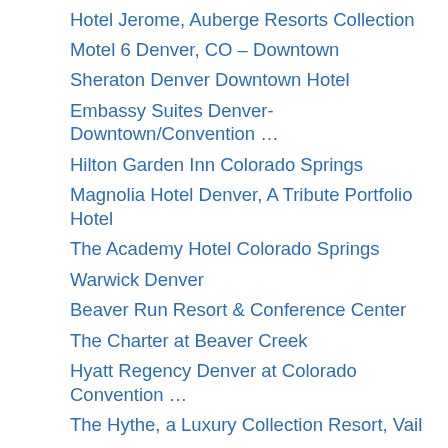Hotel Jerome, Auberge Resorts Collection
Motel 6 Denver, CO – Downtown
Sheraton Denver Downtown Hotel
Embassy Suites Denver-Downtown/Convention …
Hilton Garden Inn Colorado Springs
Magnolia Hotel Denver, A Tribute Portfolio Hotel
The Academy Hotel Colorado Springs
Warwick Denver
Beaver Run Resort & Conference Center
The Charter at Beaver Creek
Hyatt Regency Denver at Colorado Convention …
The Hythe, a Luxury Collection Resort, Vail
Staybridge Suites Denver Downtown, an IHG H…
Mountain Chalet Aspen
Homewood Suites by Hilton Denver Int'l Airport
INNhale Cannabis Friendly B&B - Adults Only
Colorado Springs Marriott
The Broadmoor
Boulder Marriott